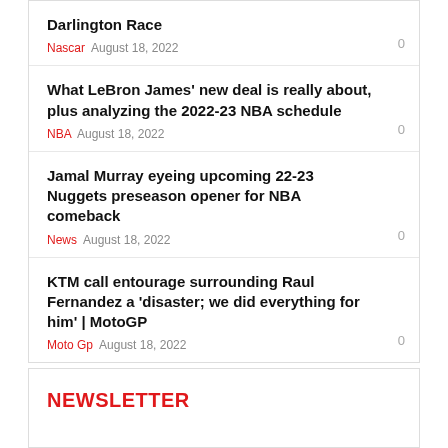Darlington Race
Nascar  August 18, 2022
What LeBron James' new deal is really about, plus analyzing the 2022-23 NBA schedule
NBA  August 18, 2022
Jamal Murray eyeing upcoming 22-23 Nuggets preseason opener for NBA comeback
News  August 18, 2022
KTM call entourage surrounding Raul Fernandez a 'disaster; we did everything for him' | MotoGP
Moto Gp  August 18, 2022
NEWSLETTER